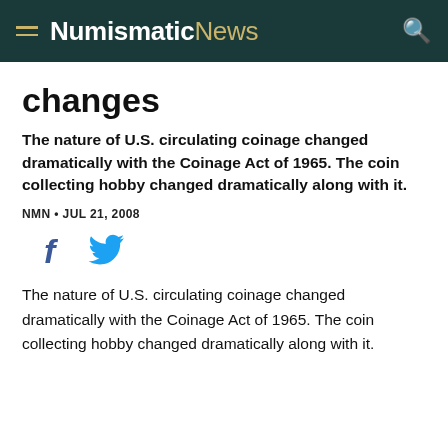NumismaticNews
changes
The nature of U.S. circulating coinage changed dramatically with the Coinage Act of 1965. The coin collecting hobby changed dramatically along with it.
NMN • JUL 21, 2008
[Figure (other): Social media sharing icons: Facebook (f) and Twitter (bird)]
The nature of U.S. circulating coinage changed dramatically with the Coinage Act of 1965. The coin collecting hobby changed dramatically along with it.